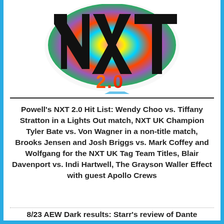[Figure (logo): WWE NXT 2.0 logo — colorful splash-painted NXT letters with '2.0' in orange below, on white background]
Powell's NXT 2.0 Hit List: Wendy Choo vs. Tiffany Stratton in a Lights Out match, NXT UK Champion Tyler Bate vs. Von Wagner in a non-title match, Brooks Jensen and Josh Briggs vs. Mark Coffey and Wolfgang for the NXT UK Tag Team Titles, Blair Davenport vs. Indi Hartwell, The Grayson Waller Effect with guest Apollo Crews
8/23 AEW Dark results: Starr's review of Dante